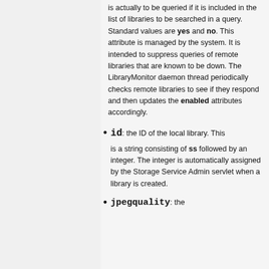is actually to be queried if it is included in the list of libraries to be searched in a query. Standard values are yes and no. This attribute is managed by the system. It is intended to suppress queries of remote libraries that are known to be down. The LibraryMonitor daemon thread periodically checks remote libraries to see if they respond and then updates the enabled attributes accordingly.
id: the ID of the local library. This is a string consisting of ss followed by an integer. The integer is automatically assigned by the Storage Service Admin servlet when a library is created.
jpegquality: the